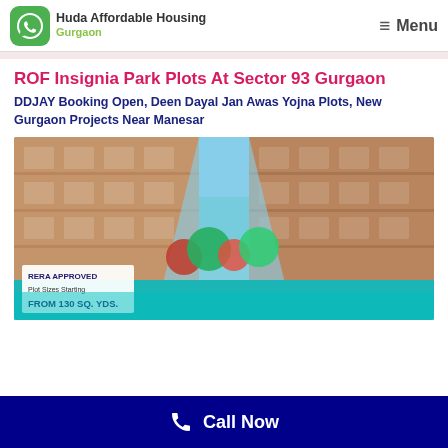Huda Affordable Housing Gurgaon | Menu
ROF Insignia Park Plots At Sector 93 Gurgaon
DDJAY Booking Open, Deen Dayal Jan Awas Yojna Plots, New Gurgaon Projects Near Manesar
[Figure (photo): Rendered image of ROF Insignia Park residential plotted development with multi-storey buildings on either side of a tree-lined central road. Teal reflection pool/road visible. White badge overlay reads: RERA APPROVED / Plot Sizes Starting / FROM 130 SQ. YDS.]
Call Now